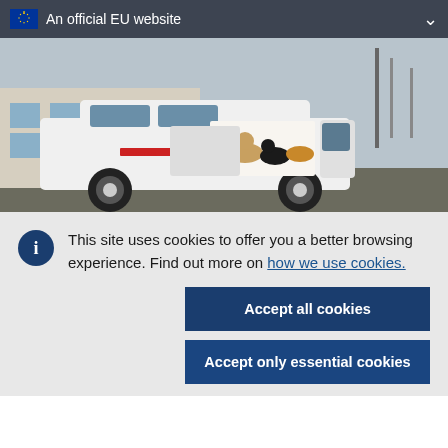An official EU website
[Figure (photo): White van with animal clinic branding (dogs and cats on the side), parked in a lot]
This site uses cookies to offer you a better browsing experience. Find out more on how we use cookies.
Accept all cookies
Accept only essential cookies